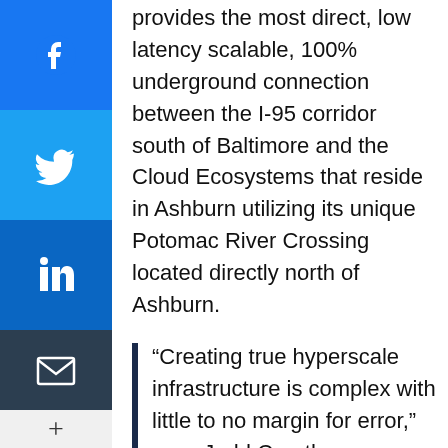provides the most direct, low latency scalable, 100% underground connection between the I-95 corridor south of Baltimore and the Cloud Ecosystems that reside in Ashburn utilizing its unique Potomac River Crossing located directly north of Ashburn.
“Creating true hyperscale infrastructure is complex with little to no margin for error,” says Judd Carothers, Founder & COO of DF&I. “Choosing the right partner is absolutely critical when your business depends on delivering a best-in-class network that not only meets the customer demands of today, but is future proofed because of understanding the needs of